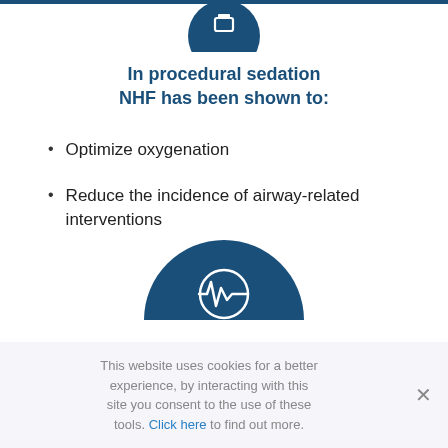[Figure (illustration): Partial dark blue circle icon at the top center with a small square/device symbol inside, cropped at top]
In procedural sedation NHF has been shown to:
Optimize oxygenation
Reduce the incidence of airway-related interventions
[Figure (illustration): Dark blue semicircle icon at bottom center with a white pulse/waveform monitor symbol inside a circle]
This website uses cookies for a better experience, by interacting with this site you consent to the use of these tools. Click here to find out more.